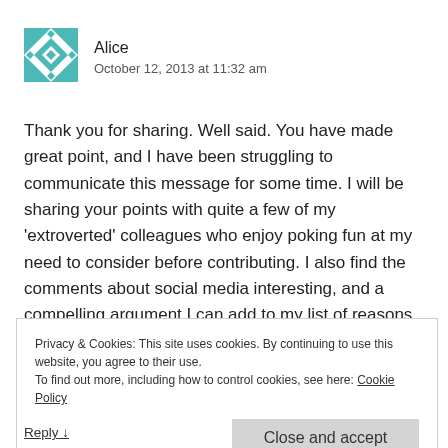[Figure (illustration): Teal/cyan geometric quilt-pattern avatar icon for user Alice]
Alice
October 12, 2013 at 11:32 am
Thank you for sharing. Well said. You have made great point, and I have been struggling to communicate this message for some time. I will be sharing your points with quite a few of my 'extroverted' colleagues who enjoy poking fun at my need to consider before contributing. I also find the comments about social media interesting, and a compelling argument I can add to my list of reasons for pursuing a second masters degree in
Privacy & Cookies: This site uses cookies. By continuing to use this website, you agree to their use.
To find out more, including how to control cookies, see here: Cookie Policy
Close and accept
Reply ↓